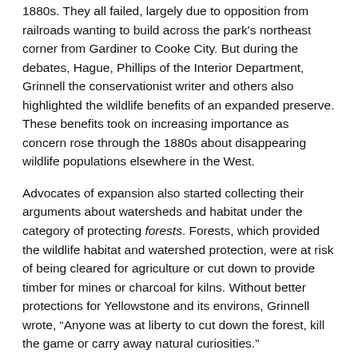1880s. They all failed, largely due to opposition from railroads wanting to build across the park's northeast corner from Gardiner to Cooke City. But during the debates, Hague, Phillips of the Interior Department, Grinnell the conservationist writer and others also highlighted the wildlife benefits of an expanded preserve. These benefits took on increasing importance as concern rose through the 1880s about disappearing wildlife populations elsewhere in the West.
Advocates of expansion also started collecting their arguments about watersheds and habitat under the category of protecting forests. Forests, which provided the wildlife habitat and watershed protection, were at risk of being cleared for agriculture or cut down to provide timber for mines or charcoal for kilns. Without better protections for Yellowstone and its environs, Grinnell wrote, “Anyone was at liberty to cut down the forest, kill the game or carry away natural curiosities.”
Because of their work on behalf of Yellowstone, Hague and Phillips became the only two non-hunters ever elected full members of the influential Boone and Crockett Club. The elite sportsmen’s club,